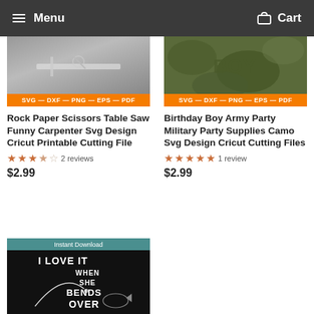Menu  Cart
[Figure (screenshot): Product image for Rock Paper Scissors carpenter SVG design with SVG-DXF-PNG-EPS-PDF format banner]
Rock Paper Scissors Table Saw Funny Carpenter Svg Design Cricut Printable Cutting File
2.5 out of 5 stars  2 reviews
$2.99
[Figure (screenshot): Product image for Birthday Boy Army Party camo SVG design with SVG-DXF-PNG-EPS-PDF format banner]
Birthday Boy Army Party Military Party Supplies Camo Svg Design Cricut Cutting Files
5 out of 5 stars  1 review
$2.99
[Figure (screenshot): Product image for fishing SVG with Instant Download banner and text I LOVE IT WHEN SHE BENDS OVER]